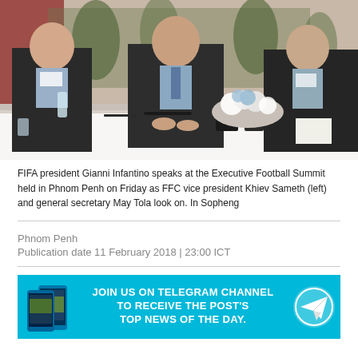[Figure (photo): Three men in dark suits seated at a conference table with flowers, nameplates, and phones on the table. The man in the center is speaking. Indoor event setting with plants in background.]
FIFA president Gianni Infantino speaks at the Executive Football Summit held in Phnom Penh on Friday as FFC vice president Khiev Sameth (left) and general secretary May Tola look on. In Sopheng
Phnom Penh
Publication date 11 February 2018 | 23:00 ICT
[Figure (infographic): Cyan/blue advertisement banner: JOIN US ON TELEGRAM CHANNEL TO RECEIVE THE POST'S TOP NEWS OF THE DAY. Shows phone screens on left and Telegram paper plane icon on right.]